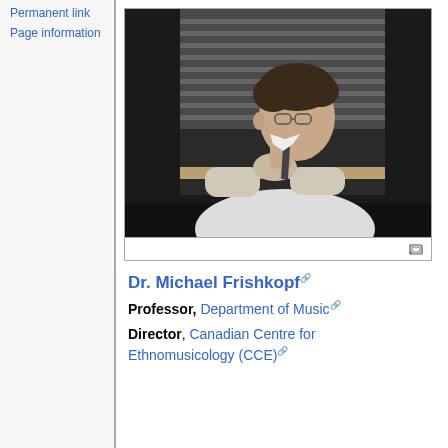Permanent link
Page information
[Figure (photo): Dr. Michael Frishkopf seated at a piano or desk, leaning forward with hands clasped under chin, wearing glasses and a white shirt, looking to the side. Background shows venetian blinds and dark panels.]
Dr. Michael Frishkopf
Professor, Department of Music
Director, Canadian Centre for Ethnomusicology (CCE)